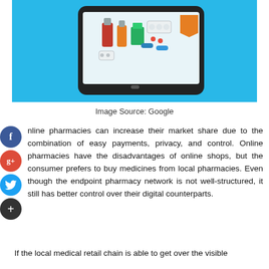[Figure (illustration): Tablet device with pharmacy/medicine items (pills, bottles, capsules) displayed on screen against a light blue background — online pharmacy illustration]
Image Source: Google
Online pharmacies can increase their market share due to the combination of easy payments, privacy, and control. Online pharmacies have the disadvantages of online shops, but the consumer prefers to buy medicines from local pharmacies. Even though the endpoint pharmacy network is not well-structured, it still has better control over their digital counterparts.
If the local medical retail chain is able to get over the visible